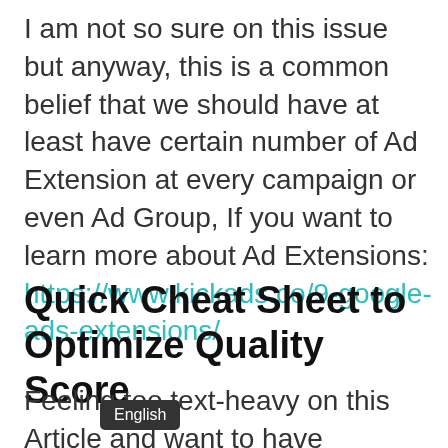I am not so sure on this issue but anyway, this is a common belief that we should have at least have certain number of Ad Extension at every campaign or even Ad Group, If you want to learn more about Ad Extensions: https://www.kickads.co/9-google-ads-extensions/
Quick Cheat Sheet to Optimize Quality Score
Feeling too text-heavy on this Article and want to have a better understanding on how to optimize